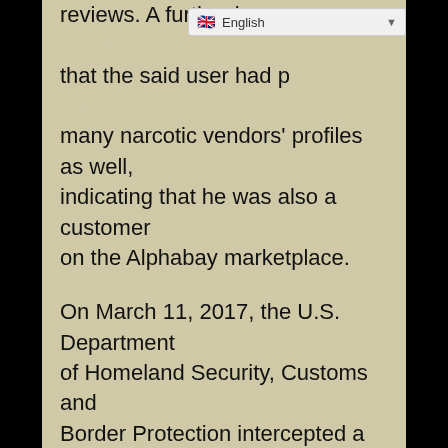reviews. A further investigation revealed that the said user had placed reviews on many narcotic vendors' profiles as well, indicating that he was also a customer on the Alphabay marketplace.

On March 11, 2017, the U.S. Department of Homeland Security, Customs and Border Protection intercepted a package shipped from China to a residential address in Staten Island, New York. The investigation revealed that this package was being delivered to Mike Luciano. The authorities opened the package and discovered 64 grams of fentanyl and 37 grams of unknown substances. On April 26, 2017, authorities found the vendor who shipped the drugs to Mike Luciano through an investigation into a case